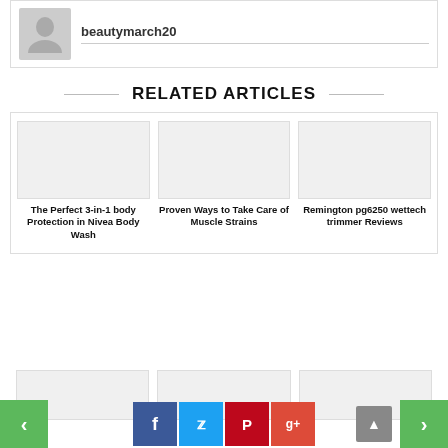beautymarch20
RELATED ARTICLES
The Perfect 3-in-1 body Protection in Nivea Body Wash
Proven Ways to Take Care of Muscle Strains
Remington pg6250 wettech trimmer Reviews
[Figure (other): Three article thumbnail image placeholders (second row, partially visible)]
[Figure (other): Navigation bar with social share buttons (Facebook, Twitter, Pinterest, Google+), green left/right arrow buttons, and scroll-to-top button]